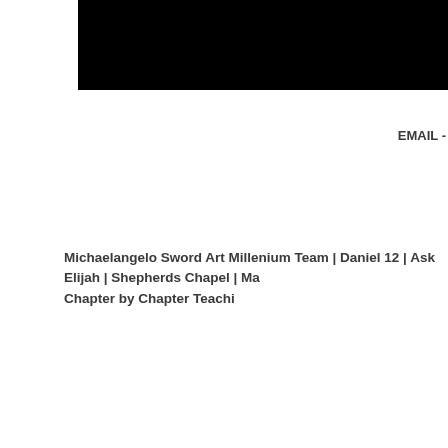[Figure (screenshot): Black rectangular banner/header image at the top of the page]
EMAIL -
Michaelangelo Sword Art Millenium Team | Daniel 12 | Ask Elijah | Shepherds Chapel | Ma Chapter by Chapter Teachi